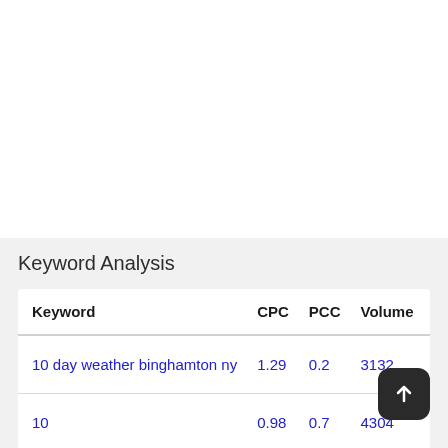Keyword Analysis
| Keyword | CPC | PCC | Volume | S… |
| --- | --- | --- | --- | --- |
| 10 day weather binghamton ny | 1.29 | 0.2 | 3132 | ● |
| 10 | 0.98 | 0.7 | 4304 | ● |
| day | 1.06 | 0.8 | 6251 | ● |
|  |  |  |  |  |